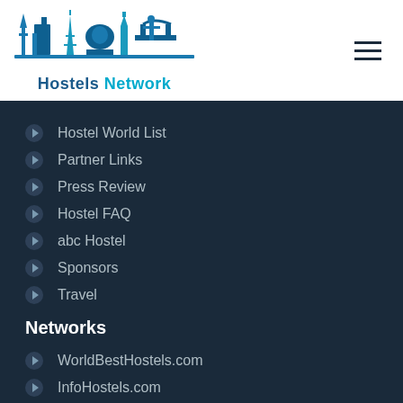[Figure (logo): Hostels Network logo with world landmark skyline silhouette in blue]
Hostel World List
Partner Links
Press Review
Hostel FAQ
abc Hostel
Sponsors
Travel
Networks
WorldBestHostels.com
InfoHostels.com
HotelsN1.com
HostelintheWorld.com Network
About Hostel